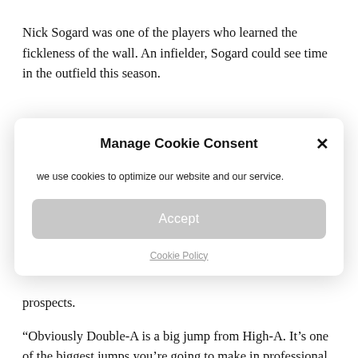Nick Sogard was one of the players who learned the fickleness of the wall. An infielder, Sogard could see time in the outfield this season.
[Figure (screenshot): A cookie consent modal dialog with title 'Manage Cookie Consent', a close button (×), the text 'we use cookies to optimize our website and our service.', an 'Accept' button in grey, and a 'Cookie Policy' underlined link.]
prospects.
“Obviously Double-A is a big jump from High-A. It’s one of the biggest jumps you’re going to make in professional baseball,” said Brandon Walter, a left-handed pitcher who went 5–4 with a 3.09 ERA and 120